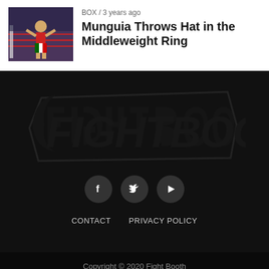BOX / 3 years ago
Munguia Throws Hat in the Middleweight Ring
[Figure (logo): FightBooth logo in dark style on black background]
[Figure (illustration): Social media icons: Facebook (f), Twitter (bird), YouTube (play button) in dark circular buttons]
CONTACT   PRIVACY POLICY
Copyright © 2020 Fight Booth